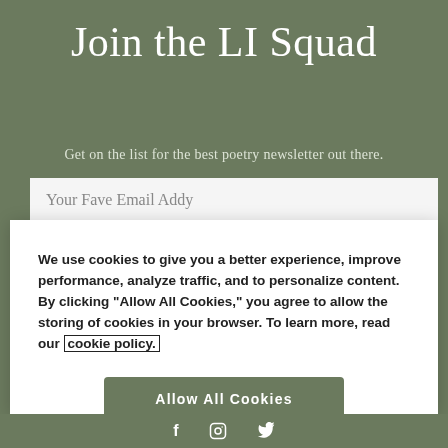Join the LI Squad
Get on the list for the best poetry newsletter out there.
Your Fave Email Addy
We use cookies to give you a better experience, improve performance, analyze traffic, and to personalize content. By clicking "Allow All Cookies," you agree to allow the storing of cookies in your browser. To learn more, read our cookie policy.
Allow All Cookies
Cookie Preferences